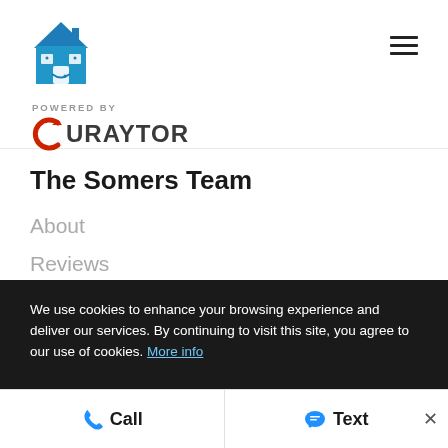[Figure (logo): Blue house icon logo with windows and door]
POWERED BY
[Figure (logo): Curaytor logo in dark grey with red C icon]
The Somers Team
About
Reviews
Somers TV
We use cookies to enhance your browsing experience and deliver our services. By continuing to visit this site, you agree to our use of cookies. More info
Call
Text